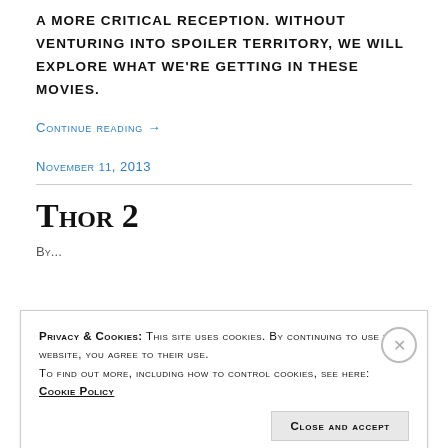a more critical reception. Without venturing into spoiler territory, we will explore what we're getting in these movies.
Continue reading →
November 11, 2013
Thor 2
By...
Privacy & Cookies: This site uses cookies. By continuing to use this website, you agree to their use. To find out more, including how to control cookies, see here: Cookie Policy
Close and accept